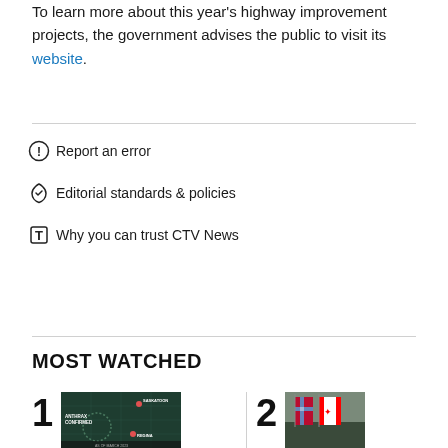To learn more about this year's highway improvement projects, the government advises the public to visit its website.
Report an error
Editorial standards & policies
Why you can trust CTV News
MOST WATCHED
[Figure (screenshot): Thumbnail image of an anthrax map showing Saskatoon and Regina locations labeled on a dark map]
[Figure (photo): Thumbnail image showing flags]